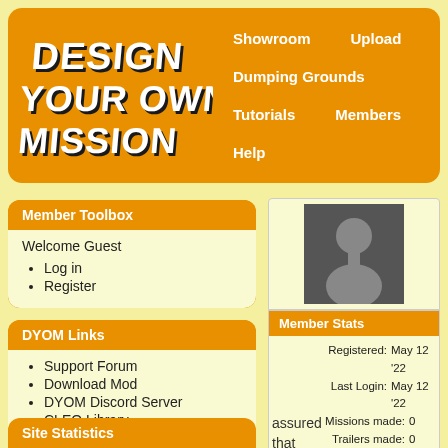[Figure (logo): Design Your Own Mission logo - stylized graffiti-style text on orange background]
Showroom   Upload
Dumping Grounds
Tutorials   Members
Help
Member Toolbox
Welcome Guest
Log in
Register
DYOM Links
Support Forum
Download Mod
DYOM Discord Server
CLEO Library
YouTube Channel
Facebook Profile
[Figure (photo): Default grey silhouette avatar / profile picture placeholder]
Member Stats
| Field | Value |
| --- | --- |
| Registered: | May 12 '22 |
| Last Login: | May 12 '22 |
| Missions made: | 0 |
| Trailers made: | 0 |
| VideoTuts made: | 0 |
| TextTuts made: | 0 |
| Comments made: | 0 |
| Ratings made: | 0 |
assured
that
you
will
Site Statistics